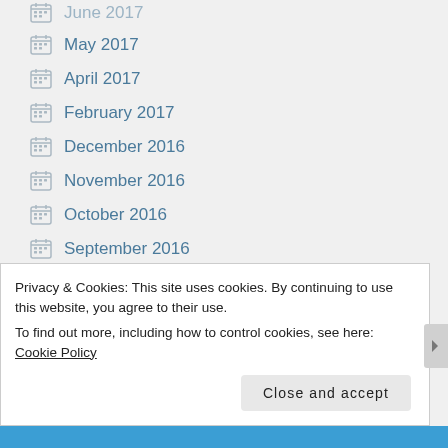May 2017
April 2017
February 2017
December 2016
November 2016
October 2016
September 2016
August 2016
June 2016
Privacy & Cookies: This site uses cookies. By continuing to use this website, you agree to their use.
To find out more, including how to control cookies, see here: Cookie Policy
Close and accept